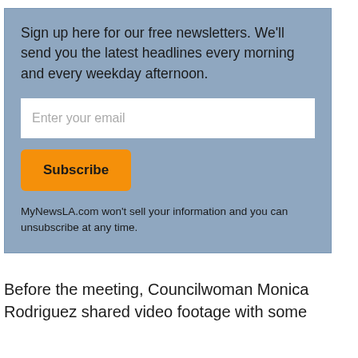Sign up here for our free newsletters. We'll send you the latest headlines every morning and every weekday afternoon.
Enter your email
Subscribe
MyNewsLA.com won't sell your information and you can unsubscribe at any time.
Before the meeting, Councilwoman Monica Rodriguez shared video footage with some